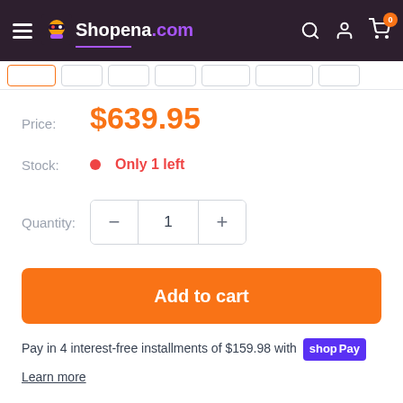Shopena.com — navigation header with hamburger menu, logo, search, account, and cart icons
Price: $639.95
Stock: Only 1 left
Quantity: 1
Add to cart
Pay in 4 interest-free installments of $159.98 with shop Pay
Learn more